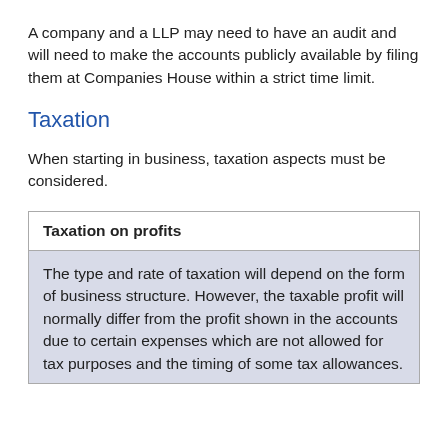A company and a LLP may need to have an audit and will need to make the accounts publicly available by filing them at Companies House within a strict time limit.
Taxation
When starting in business, taxation aspects must be considered.
| Taxation on profits |
| --- |
| The type and rate of taxation will depend on the form of business structure. However, the taxable profit will normally differ from the profit shown in the accounts due to certain expenses which are not allowed for tax purposes and the timing of some tax allowances. |